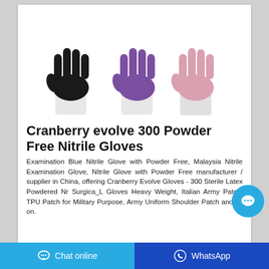[Figure (photo): Three nitrile examination gloves shown upright: black (left), purple (center), and pink/rose (right), each on a white cuff background.]
Cranberry evolve 300 Powder Free Nitrile Gloves
Examination Blue Nitrile Glove with Powder Free, Malaysia Nitrile Examination Glove, Nitrile Glove with Powder Free manufacturer / supplier in China, offering Cranberry Evolve Gloves - 300 Sterile Latex Powdered Nr Surgica_L Gloves Heavy Weight, Italian Army Patch, TPU Patch for Military Purpose, Army Uniform Shoulder Patch and so on.
Chat online   WhatsApp